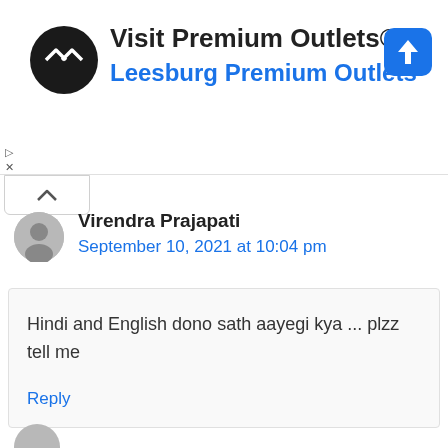[Figure (logo): Advertisement banner for Visit Premium Outlets® / Leesburg Premium Outlets with circular logo and navigation icon]
Virendra Prajapati
September 10, 2021 at 10:04 pm
Hindi and English dono sath aayegi kya ... plzz tell me
Reply